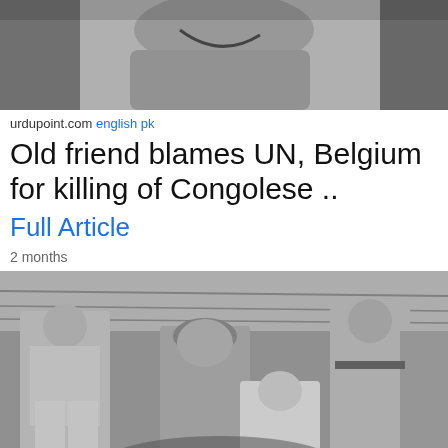[Figure (photo): Black and white photo showing the upper body of a person with arms crossed, wearing a uniform or jacket]
urdupoint.com english pk
Old friend blames UN, Belgium for killing of Congolese ..
Full Article
2 months
[Figure (photo): Black and white photo showing several men in military uniforms and civilian clothes, one wearing a helmet, in what appears to be an indoor setting]
thenewdaily.com.au english au